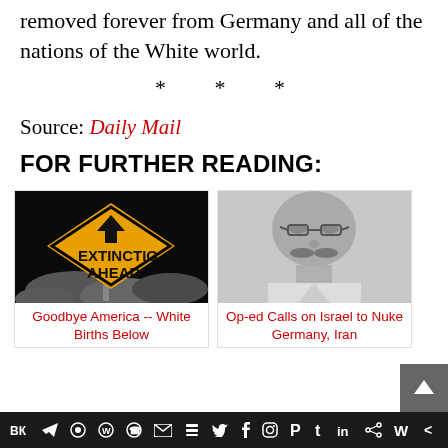removed forever from Germany and all of the nations of the White world.
* * *
Source: Daily Mail
FOR FURTHER READING:
[Figure (photo): Diamond-shaped yellow road sign reading 'EXTINCTION AHEAD' with an arrow pointing up, against a dark cloudy sky]
Goodbye America -- White Births Below
[Figure (photo): Black and white headshot photograph of a bald man with glasses and a mustache]
Op-ed Calls on Israel to Nuke Germany, Iran